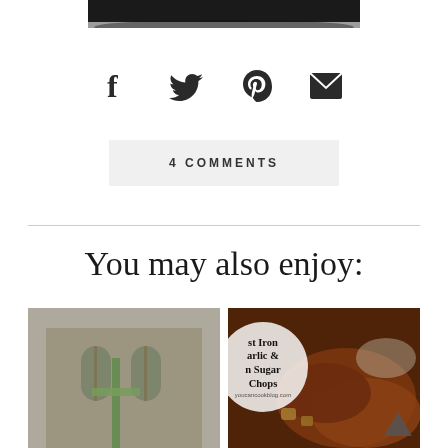[Figure (photo): Top portion of a dark photo/image strip at the top of the page]
[Figure (infographic): Social sharing icons row: Facebook (f), Twitter (bird), Pinterest (P), Email (envelope)]
4 COMMENTS
You may also enjoy:
[Figure (photo): Photo of a church building exterior with arched windows and a green cross/palm decoration in the foreground, black and white tones]
[Figure (photo): Photo of cooked meat dish (pork chops) with a circular white overlay text reading: Cast Iron Garlic & Brown Sugar Pork Chops, with a website URL below]